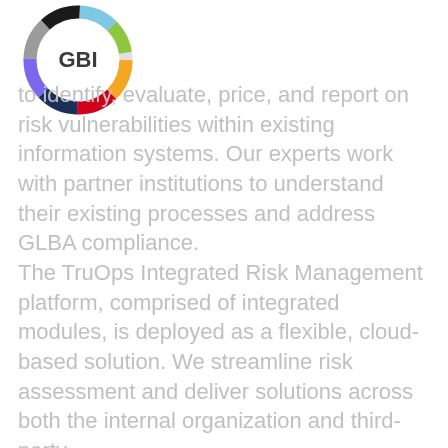[Figure (logo): GBI logo: circular multicolor ring (segments in orange, red, dark blue, purple, gray, black, light blue, green) with 'GBI' text in bold dark gray in the center]
to identify, evaluate, price, and report on risk vulnerabilities within existing information systems. Our experts work with partner institutions to understand their existing processes and address GLBA compliance.
The TruOps Integrated Risk Management platform, comprised of integrated modules, is deployed as a flexible, cloud-based solution. We streamline risk assessment and deliver solutions across both the internal organization and third-party